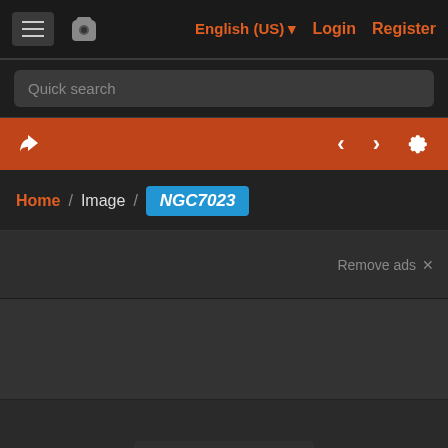English (US) Login Register
Quick search
[Figure (screenshot): Orange navigation toolbar with share icon on left and navigation arrows and gear icon on right]
Home / Image / NGC7023
Remove ads ×